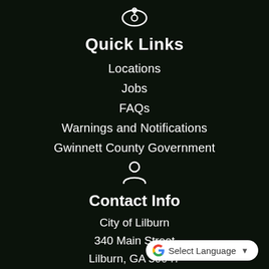[Figure (illustration): Dark outdoor background photo of a city street with trees and flags, overlaid with dark semi-transparent layer]
Quick Links
Locations
Jobs
FAQs
Warnings and Notifications
Gwinnett County Government
Contact Info
City of Lilburn
340 Main Street
Lilburn, GA 30047
Phone: T...
[Figure (screenshot): Google Translate widget with Google G logo and 'Select Language' dropdown]